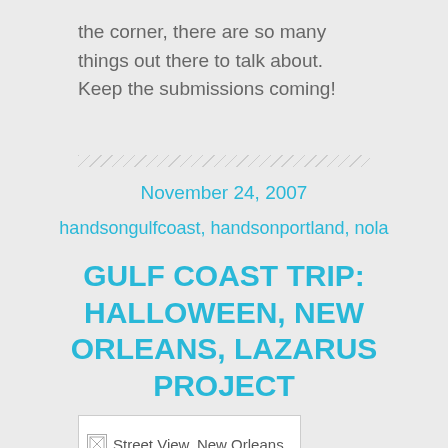the corner, there are so many things out there to talk about. Keep the submissions coming!
November 24, 2007
handsongulfcoast, handsonportland, nola
GULF COAST TRIP: HALLOWEEN, NEW ORLEANS, LAZARUS PROJECT
[Figure (photo): Street View, New Orleans — broken image placeholder]